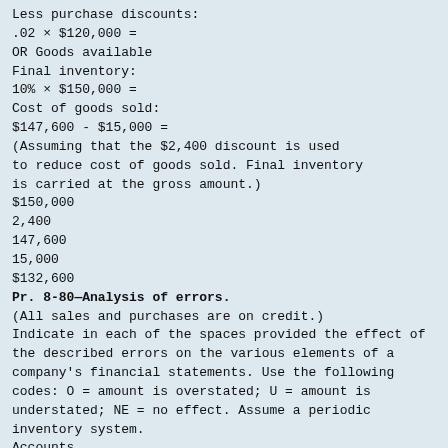Less purchase discounts:
.02 × $120,000 =
OR Goods available
Final inventory:
10% × $150,000 =
Cost of goods sold:
$147,600 - $15,000 =
(Assuming that the $2,400 discount is used
to reduce cost of goods sold. Final inventory
is carried at the gross amount.)
$150,000
2,400
147,600
15,000
$132,600
Pr. 8-80—Analysis of errors.
(All sales and purchases are on credit.)
Indicate in each of the spaces provided the effect of
the described errors on the various elements of a
company's financial statements. Use the following
codes: O = amount is overstated; U = amount is
understated; NE = no effect. Assume a periodic
inventory system.
Accounts
Receivable
EXAMPLE: Excluded goods in rented
warehouse from inventory
count.
NE
Inventory
U
Accounts
Payable